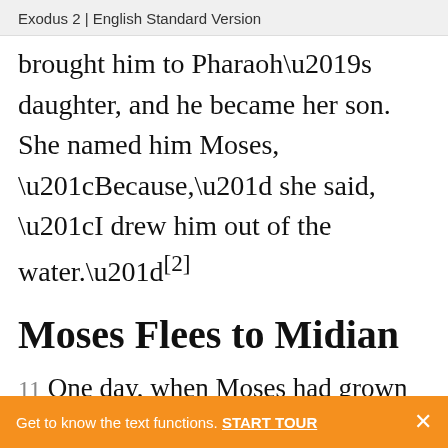Exodus 2 | English Standard Version
brought him to Pharaoh’s daughter, and he became her son. She named him Moses, “Because,” she said, “I drew him out of the water.”[2]
Moses Flees to Midian
11 One day, when Moses had grown up, he went out to his people and looked on their burdens, and he saw an Egyptian
Get to know the text functions. START TOUR